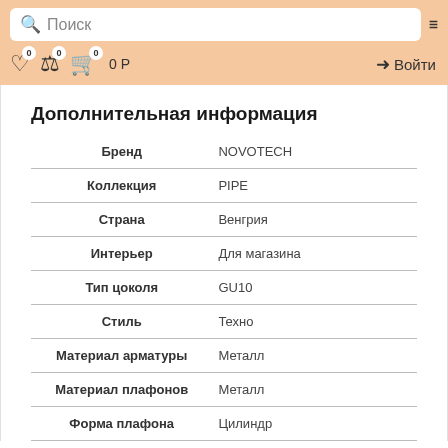Поиск
Дополнительная информация
|  |  |
| --- | --- |
| Бренд | NOVOTECH |
| Коллекция | PIPE |
| Страна | Венгрия |
| Интерьер | Для магазина |
| Тип цоколя | GU10 |
| Стиль | Техно |
| Материал арматуры | Металл |
| Материал плафонов | Металл |
| Форма плафона | Цилиндр |